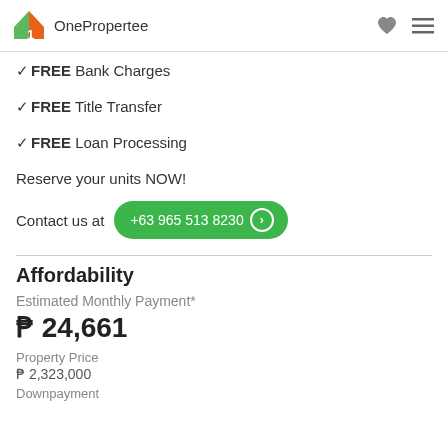OnePropertee
✓FREE Bank Charges
✓FREE Title Transfer
✓FREE Loan Processing
Reserve your units NOW!
Contact us at +63 965 513 8230
Affordability
Estimated Monthly Payment*
₱ 24,661
Property Price
₱ 2,323,000
Downpayment